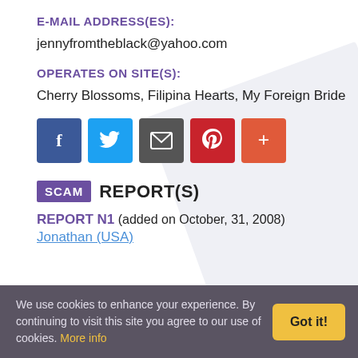E-MAIL ADDRESS(ES):
jennyfromtheblack@yahoo.com
OPERATES ON SITE(S):
Cherry Blossoms, Filipina Hearts, My Foreign Bride
[Figure (infographic): Social sharing buttons: Facebook (blue), Twitter (light blue), Email (dark gray), Pinterest (red), Plus/More (orange-red)]
SCAM REPORT(S)
REPORT N1 (added on October, 31, 2008)
Jonathan (USA)
We use cookies to enhance your experience. By continuing to visit this site you agree to our use of cookies. More info